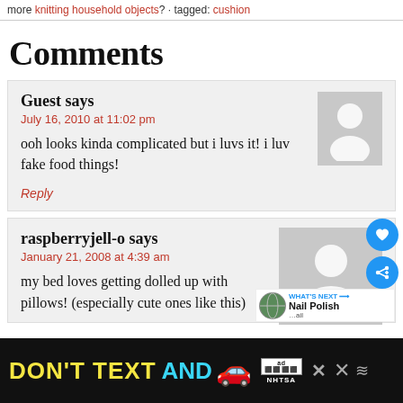more knitting household objects? · tagged: cushion
Comments
Guest says
July 16, 2010 at 11:02 pm
ooh looks kinda complicated but i luvs it! i luv fake food things!
Reply
raspberryjell-o says
January 21, 2008 at 4:39 am
my bed loves getting dolled up with pillows! (especially cute ones like this)
[Figure (screenshot): DON'T TEXT AND [car emoji] advertisement banner from NHTSA with close/share buttons]